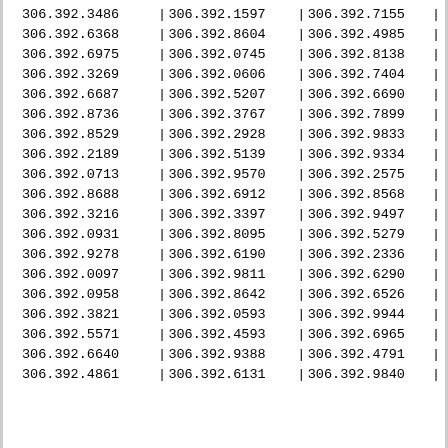| 306.392.3486 | | | 306.392.1597 | | | 306.392.7155 | | |
| 306.392.6368 | | | 306.392.8604 | | | 306.392.4985 | | |
| 306.392.6975 | | | 306.392.0745 | | | 306.392.8138 | | |
| 306.392.3269 | | | 306.392.0606 | | | 306.392.7404 | | |
| 306.392.6687 | | | 306.392.5207 | | | 306.392.6690 | | |
| 306.392.8736 | | | 306.392.3767 | | | 306.392.7899 | | |
| 306.392.8529 | | | 306.392.2928 | | | 306.392.9833 | | |
| 306.392.2189 | | | 306.392.5139 | | | 306.392.9334 | | |
| 306.392.0713 | | | 306.392.9570 | | | 306.392.2575 | | |
| 306.392.8688 | | | 306.392.6912 | | | 306.392.8568 | | |
| 306.392.3216 | | | 306.392.3397 | | | 306.392.9497 | | |
| 306.392.0931 | | | 306.392.8095 | | | 306.392.5279 | | |
| 306.392.9278 | | | 306.392.6190 | | | 306.392.2336 | | |
| 306.392.0097 | | | 306.392.9811 | | | 306.392.6290 | | |
| 306.392.0958 | | | 306.392.8642 | | | 306.392.6526 | | |
| 306.392.3821 | | | 306.392.0593 | | | 306.392.9944 | | |
| 306.392.5571 | | | 306.392.4593 | | | 306.392.6965 | | |
| 306.392.6640 | | | 306.392.9388 | | | 306.392.4791 | | |
| 306.392.4861 | | | 306.392.6131 | | | 306.392.9840 | | |